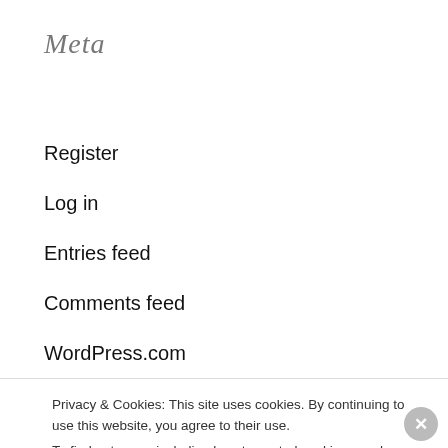Meta
Register
Log in
Entries feed
Comments feed
WordPress.com
[Figure (screenshot): Etsy promotional badge with orange border showing 'I SELL ON ETSY' text]
Privacy & Cookies: This site uses cookies. By continuing to use this website, you agree to their use.
To find out more, including how to control cookies, see here: Cookie Policy
Close and accept